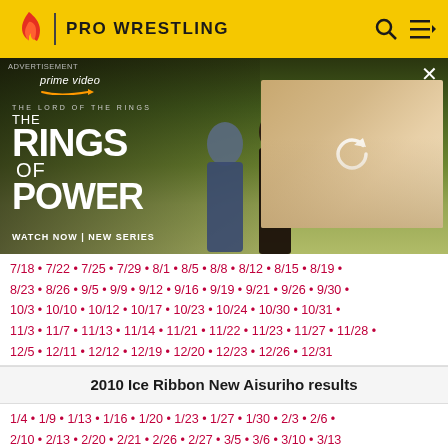PRO WRESTLING
[Figure (photo): Amazon Prime Video advertisement for The Lord of the Rings: The Rings of Power. Shows two characters in a fantasy landscape on the left, and a partially loaded panel with a refresh icon on the right. Text reads: prime video, THE LORD OF THE RINGS, THE RINGS OF POWER, WATCH NOW | NEW SERIES]
7/18 • 7/22 • 7/25 • 7/29 • 8/1 • 8/5 • 8/8 • 8/12 • 8/15 • 8/19 • 8/23 • 8/26 • 9/5 • 9/9 • 9/12 • 9/16 • 9/19 • 9/21 • 9/26 • 9/30 • 10/3 • 10/10 • 10/12 • 10/17 • 10/23 • 10/24 • 10/30 • 10/31 • 11/3 • 11/7 • 11/13 • 11/14 • 11/21 • 11/22 • 11/23 • 11/27 • 11/28 • 12/5 • 12/11 • 12/12 • 12/19 • 12/20 • 12/23 • 12/26 • 12/31
2010 Ice Ribbon New Aisuriho results
1/4 • 1/9 • 1/13 • 1/16 • 1/20 • 1/23 • 1/27 • 1/30 • 2/3 • 2/6 • 2/10 • 2/13 • 2/20 • 2/21 • 2/26 • 2/27 • 3/5 • 3/6 • 3/10 • 3/13 • 3/14 • 3/17 • 3/20 • 3/21 • 3/22 • 3/27 • 3/31 • 4/3 • 4/7 • 4/10 • 4/14 • 4/17 • 4/21 • 4/24 • 4/29 • 5/3 • 5/8 • 5/12 • 5/15